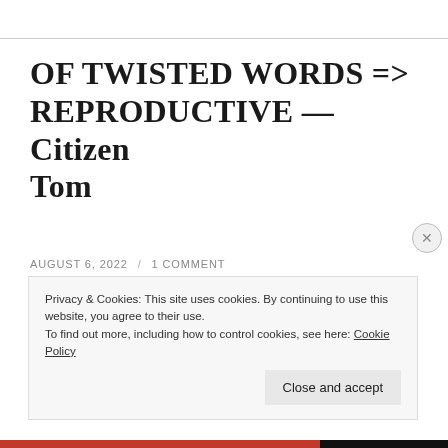OF TWISTED WORDS => REPRODUCTIVE — Citizen Tom
AUGUST 6, 2022 / 1 COMMENT
Photo by Pixabay on Pexels.com Nothing twists the meaning of a word more than using it to tell a lie. The term “reproductive” provides a good example. Consider
Privacy & Cookies: This site uses cookies. By continuing to use this website, you agree to their use.
To find out more, including how to control cookies, see here: Cookie Policy

Close and accept